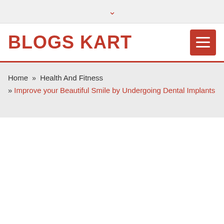▾
BLOGS KART
Home » Health And Fitness » Improve your Beautiful Smile by Undergoing Dental Implants